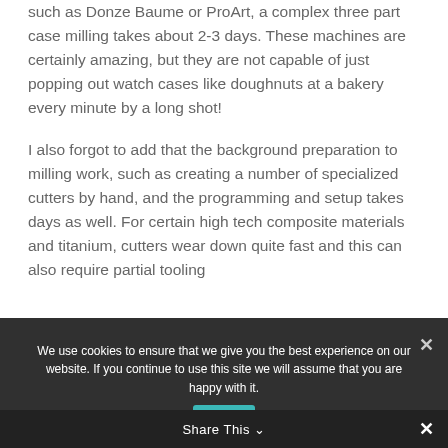such as Donze Baume or ProArt, a complex three part case milling takes about 2-3 days. These machines are certainly amazing, but they are not capable of just popping out watch cases like doughnuts at a bakery every minute by a long shot!
I also forgot to add that the background preparation to milling work, such as creating a number of specialized cutters by hand, and the programming and setup takes days as well. For certain high tech composite materials and titanium, cutters wear down quite fast and this can also require partial tooling
We use cookies to ensure that we give you the best experience on our website. If you continue to use this site we will assume that you are happy with it.
Share This